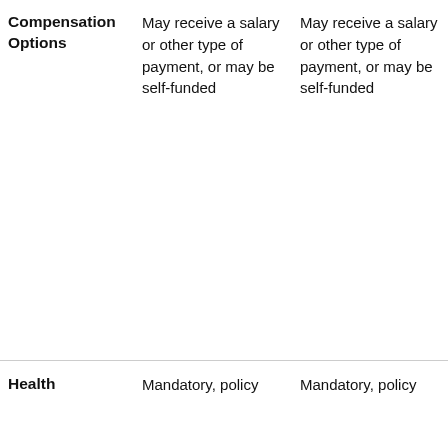|  | Column 2 (partial) | Column 3 (partial) | Column 4 (partial, clipped) |
| --- | --- | --- | --- |
| Compensation Options | May receive a salary or other type of payment, or may be self-funded | May receive a salary or other type of payment, or may be self-funded | r
h
C
v
s
A
h
r
h
r
c
i
t
r |
| Health | Mandatory, policy | Mandatory, policy | M
t |